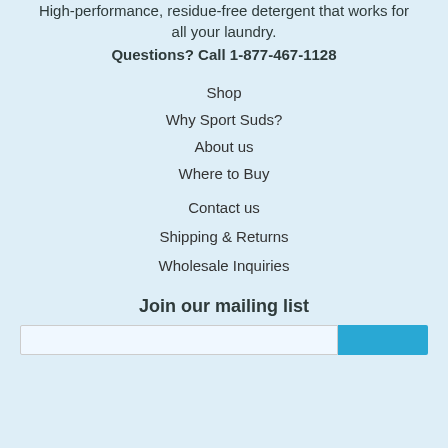High-performance, residue-free detergent that works for all your laundry.
Questions? Call 1-877-467-1128
Shop
Why Sport Suds?
About us
Where to Buy
Contact us
Shipping & Returns
Wholesale Inquiries
Join our mailing list